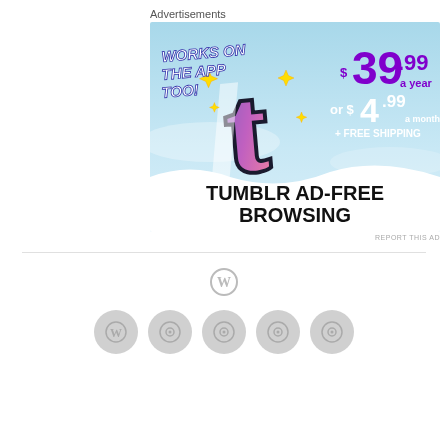Advertisements
[Figure (photo): Tumblr Ad-Free Browsing advertisement banner. Light blue sky background with the Tumblr 't' logo (pink/purple gradient with white highlight) in the center. Left side reads 'WORKS ON THE APP TOO!' in bold white italic text. Right side shows '$39.99 a year or $4.99 a month + FREE SHIPPING' in purple and white text. Bottom reads 'TUMBLR AD-FREE BROWSING' in large bold black text on a white wave shape. Yellow sparkle/star decorations around the logo.]
REPORT THIS AD
[Figure (logo): WordPress 'W' circular logo icon, gray outline style]
[Figure (logo): Row of five circular gray icon buttons: WordPress logo, and four circular icons with a target/circle symbol]